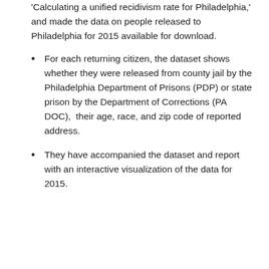'Calculating a unified recidivism rate for Philadelphia,' and made the data on people released to Philadelphia for 2015 available for download.
For each returning citizen, the dataset shows whether they were released from county jail by the Philadelphia Department of Prisons (PDP) or state prison by the Department of Corrections (PA DOC),  their age, race, and zip code of reported address.
They have accompanied the dataset and report with an interactive visualization of the data for 2015.